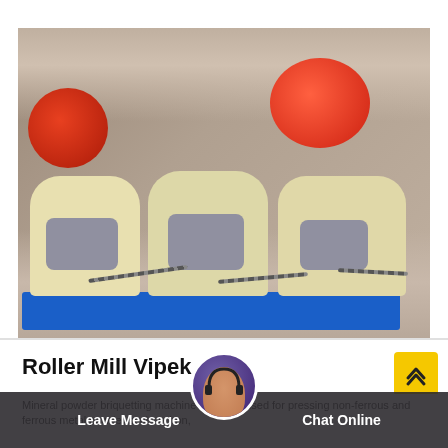[Figure (photo): Industrial photograph of Roller Mill Vipek machines — several cream/yellow colored roller mill units mounted on blue steel pallets with grey wrapped components and chain drives, set inside a large factory or warehouse with large red cylindrical ball mills visible in the background.]
Roller Mill Vipek
Mineral powder briquetting machine is mainly used for pressing non-ferrous and ferrous metal powder such as iron,
Leave Message   Chat Online